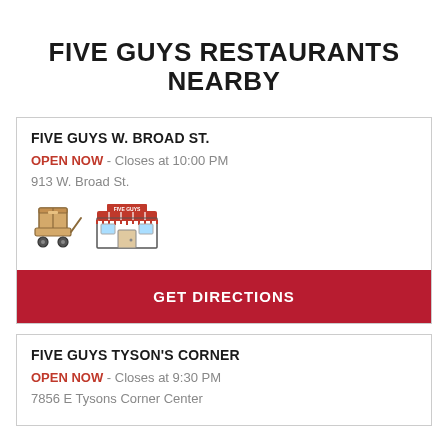FIVE GUYS RESTAURANTS NEARBY
FIVE GUYS W. BROAD ST.
OPEN NOW - Closes at 10:00 PM
913 W. Broad St.
[Figure (illustration): Delivery cart icon and restaurant storefront icon]
GET DIRECTIONS
FIVE GUYS TYSON'S CORNER
OPEN NOW - Closes at 9:30 PM
7856 E Tysons Corner Center